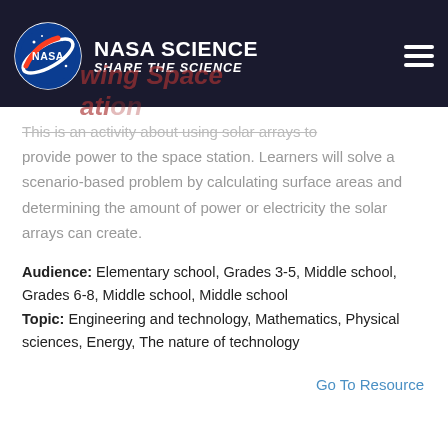NASA SCIENCE — SHARE THE SCIENCE
This is an activity about using solar arrays to provide power to the space station. Learners will solve a scenario-based problem by calculating surface areas and determining the amount of power or electricity the solar arrays can create.
Audience: Elementary school, Grades 3-5, Middle school, Grades 6-8, Middle school, Middle school
Topic: Engineering and technology, Mathematics, Physical sciences, Energy, The nature of technology
Go To Resource